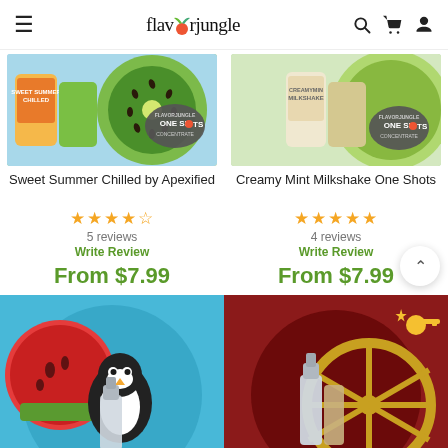flavorjungle
[Figure (photo): Sweet Summer Chilled by Apexified product image with kiwi and One Shots concentrate label]
Sweet Summer Chilled by Apexified
★★★★½  5 reviews  Write Review  From $7.99
[Figure (photo): Creamy Mint Milkshake One Shots product image with One Shots concentrate label]
Creamy Mint Milkshake One Shots
★★★★★  4 reviews  Write Review  From $7.99
[Figure (photo): Bottom left product with penguin and watermelon imagery]
[Figure (photo): Bottom right product with ship wheel and red background]